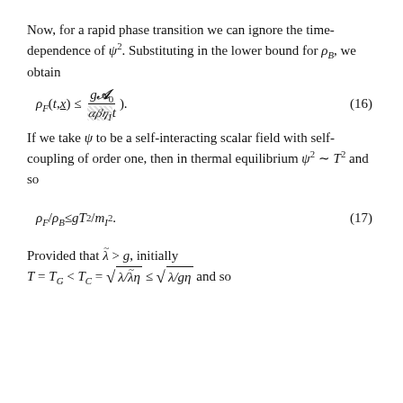Now, for a rapid phase transition we can ignore the time-dependence of ψ². Substituting in the lower bound for ρ_B, we obtain
If we take ψ to be a self-interacting scalar field with self-coupling of order one, then in thermal equilibrium ψ² ~ T² and so
Provided that λ̃ > g, initially T = T_G < T_C = √(λ/λ̃η) ≤ √(λ/gη) and so